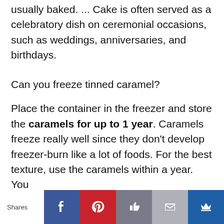usually baked. ... Cake is often served as a celebratory dish on ceremonial occasions, such as weddings, anniversaries, and birthdays.
Can you freeze tinned caramel?
Place the container in the freezer and store the caramels for up to 1 year. Caramels freeze really well since they don't develop freezer-burn like a lot of foods. For the best texture, use the caramels within a year. You
Shares [Facebook] [Pinterest] [Like] [Mail] [Crown]